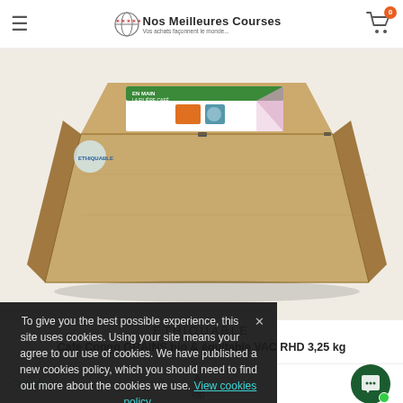Nos Meilleures Courses — Vos achats façonnent le monde...
[Figure (photo): Large cardboard box (kraft brown) containing Ethiquable café Congo product, viewed from angle showing top and front face with product labeling 'EN MAIN LA FILIÈRE CAFÉ' and fair-trade imagery]
ETHIQUABLE
Café Congo GRAINS bio & équitable VAC RHD 3,25 kg
4
To give you the best possible experience, this site uses cookies. Using your site means your agree to our use of cookies. We have published a new cookies policy, which you should need to find out more about the cookies we use. View cookies policy.
Left  Top